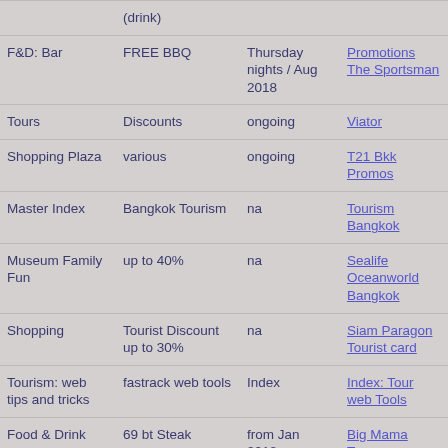| Category | Offer | When | Link |
| --- | --- | --- | --- |
|  | (drink) |  |  |
| F&D: Bar | FREE BBQ | Thursday nights / Aug 2018 | Promotions The Sportsman |
| Tours | Discounts | ongoing | Viator |
| Shopping Plaza | various | ongoing | T21 Bkk Promos |
| Master Index | Bangkok Tourism | na | Tourism Bangkok |
| Museum Family Fun | up to 40% | na | Sealife Oceanworld Bangkok |
| Shopping | Tourist Discount up to 30% | na | Siam Paragon Tourist card |
| Tourism: web tips and tricks | fastrack web tools | Index | Index: Tour web Tools |
| Food & Drink | 69 bt Steak | from Jan 2018 .. changes monthly | Big Mama Tapas |
| F&D: Bar | FREE drinks - ladies night every night | from 29/3/17 until ? | Promotions: Alex Brasserie |
| F&D: Pizza | Pizza: buy 1 get 1 free | Friday / ongoing | American Bar & Grill |
| Food Drink | FREE Buffet dine... | Friday / ongoing | Det-5 |